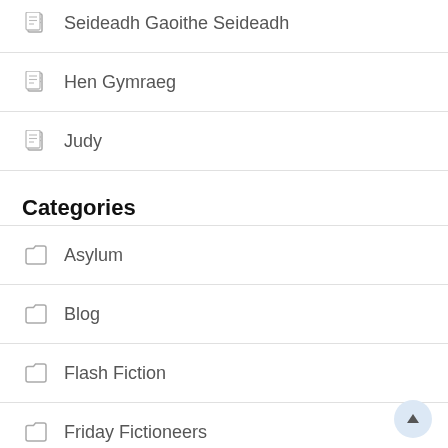Seideadh Gaoithe Seideadh
Hen Gymraeg
Judy
Categories
Asylum
Blog
Flash Fiction
Friday Fictioneers
General Fiction
Historical Fantasy